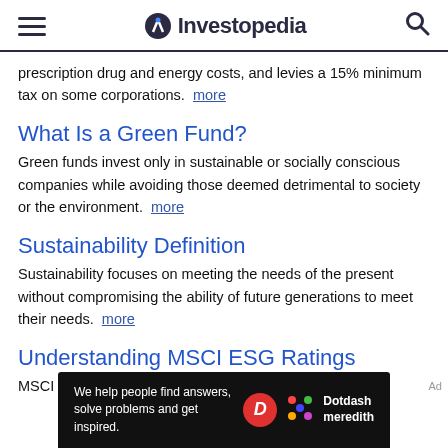Investopedia
prescription drug and energy costs, and levies a 15% minimum tax on some corporations. more
What Is a Green Fund?
Green funds invest only in sustainable or socially conscious companies while avoiding those deemed detrimental to society or the environment. more
Sustainability Definition
Sustainability focuses on meeting the needs of the present without compromising the ability of future generations to meet their needs. more
Understanding MSCI ESG Ratings
MSCI ESG ratings are a comprehensive measure of a
[Figure (other): Dotdash Meredith advertisement banner with text: We help people find answers, solve problems and get inspired.]